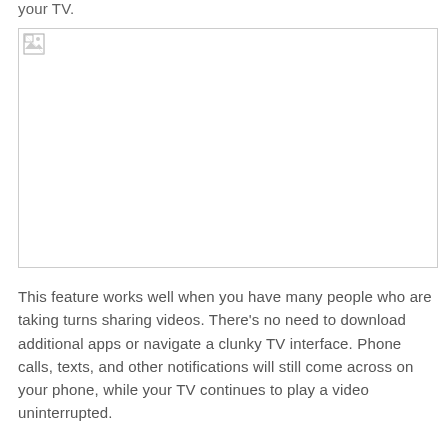your TV.
[Figure (photo): Broken/missing image placeholder with small image icon in top-left corner]
This feature works well when you have many people who are taking turns sharing videos. There’s no need to download additional apps or navigate a clunky TV interface. Phone calls, texts, and other notifications will still come across on your phone, while your TV continues to play a video uninterrupted.